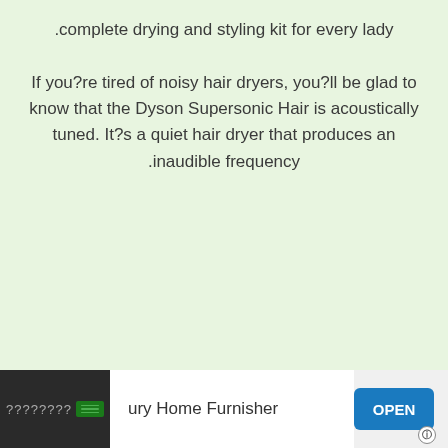.complete drying and styling kit for every lady
If you?re tired of noisy hair dryers, you?ll be glad to know that the Dyson Supersonic Hair is acoustically tuned. It?s a quiet hair dryer that produces an inaudible frequency.
[Figure (screenshot): Advertisement banner at the bottom showing a dark block with question marks and a Saudi flag icon, text reading 'ury Home Furnisher', and a blue OPEN button]